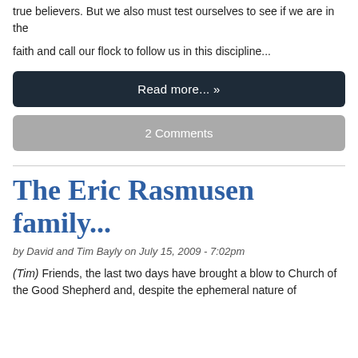true believers. But we also must test ourselves to see if we are in the
faith and call our flock to follow us in this discipline...
Read more... »
2 Comments
The Eric Rasmusen family...
by David and Tim Bayly on July 15, 2009 - 7:02pm
(Tim) Friends, the last two days have brought a blow to Church of the Good Shepherd and, despite the ephemeral nature of